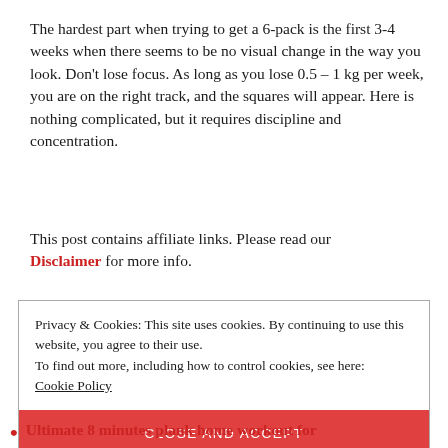The hardest part when trying to get a 6-pack is the first 3-4 weeks when there seems to be no visual change in the way you look. Don't lose focus. As long as you lose 0.5 – 1 kg per week, you are on the right track, and the squares will appear. Here is nothing complicated, but it requires discipline and concentration.
This post contains affiliate links. Please read our Disclaimer for more info.
Privacy & Cookies: This site uses cookies. By continuing to use this website, you agree to their use.
To find out more, including how to control cookies, see here:
Cookie Policy
CLOSE AND ACCEPT
Ultimate 8 minutes plank home workout for